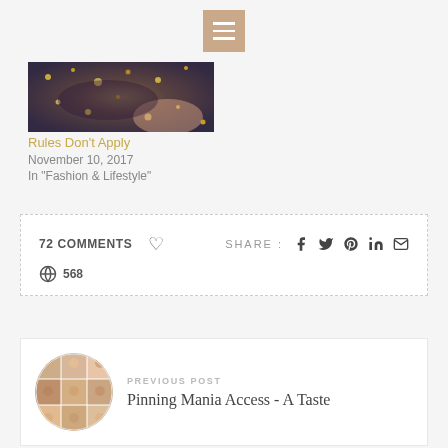Navigation menu icon
[Figure (photo): Partial view of a glittery/sequined clutch bag, cropped at top of page]
Rules Don't Apply
November 10, 2017
In "Fashion & Lifestyle"
72 COMMENTS  568
SHARE :
PREVIOUS POST
Pinning Mania Access - A Taste